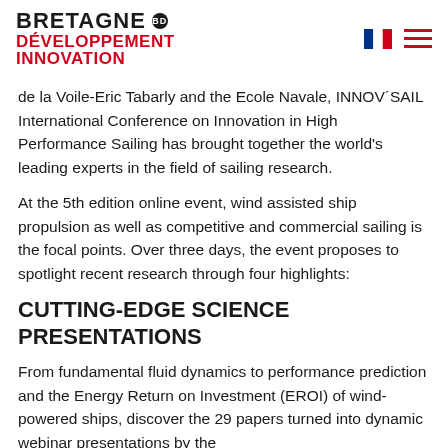BRETAGNE DÉVELOPPEMENT INNOVATION
de la Voile-Eric Tabarly and the Ecole Navale, INNOV´SAIL International Conference on Innovation in High Performance Sailing has brought together the world's leading experts in the field of sailing research.
At the 5th edition online event, wind assisted ship propulsion as well as competitive and commercial sailing is the focal points. Over three days, the event proposes to spotlight recent research through four highlights:
CUTTING-EDGE SCIENCE PRESENTATIONS
From fundamental fluid dynamics to performance prediction and the Energy Return on Investment (EROI) of wind-powered ships, discover the 29 papers turned into dynamic webinar presentations by the